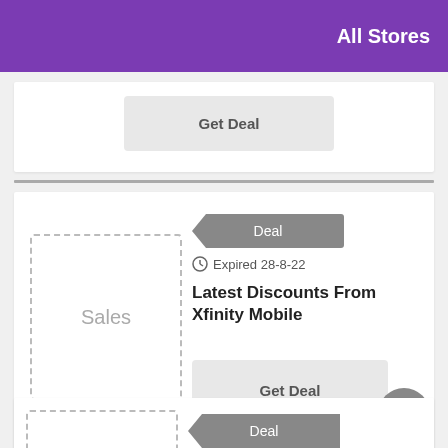All Stores
Get Deal
Deal
Expired 28-8-22
Latest Discounts From Xfinity Mobile
Get Deal
[Figure (other): Sales placeholder image box (dashed border) with text 'Sales']
Deal